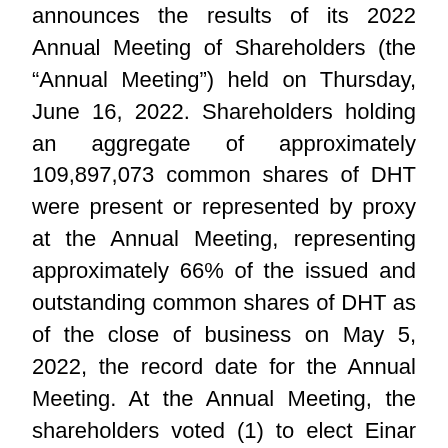announces the results of its 2022 Annual Meeting of Shareholders (the “Annual Meeting”) held on Thursday, June 16, 2022. Shareholders holding an aggregate of approximately 109,897,073 common shares of DHT were present or represented by proxy at the Annual Meeting, representing approximately 66% of the issued and outstanding common shares of DHT as of the close of business on May 5, 2022, the record date for the Annual Meeting. At the Annual Meeting, the shareholders voted (1) to elect Einar Michael Steimler and Joseph H. Pyne to DHT’s Board of Directors, as Class II directors, for a term of three years, (2) to approve the 2022 Incentive Compensation